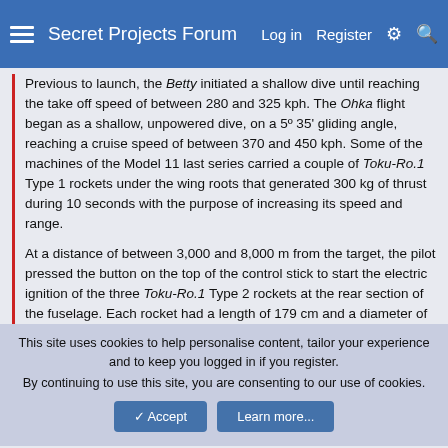Secret Projects Forum  Log in  Register
Previous to launch, the Betty initiated a shallow dive until reaching the take off speed of between 280 and 325 kph. The Ohka flight began as a shallow, unpowered dive, on a 5º 35' gliding angle, reaching a cruise speed of between 370 and 450 kph. Some of the machines of the Model 11 last series carried a couple of Toku-Ro.1 Type 1 rockets under the wing roots that generated 300 kg of thrust during 10 seconds with the purpose of increasing its speed and range.
At a distance of between 3,000 and 8,000 m from the target, the pilot pressed the button on the top of the control stick to start the electric ignition of the three Toku-Ro.1 Type 2 rockets at the rear section of the fuselage. Each rocket had a length of 179 cm and a diameter of 25 cm, weighted 115 kg and contained 44 kg of solid fuel capable of generating 600 kg of thrust during 30 seconds. After the ignition, the pilot initiated the final 50º dive on the target reaching a terminal speed of 933 kph.
This site uses cookies to help personalise content, tailor your experience and to keep you logged in if you register. By continuing to use this site, you are consenting to our use of cookies.